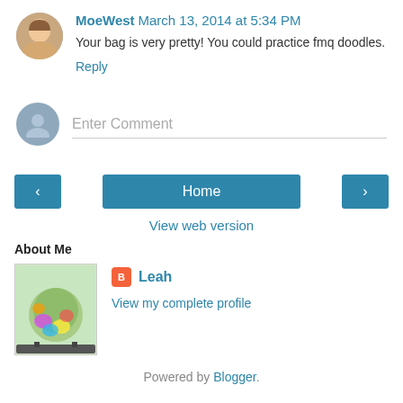MoeWest  March 13, 2014 at 5:34 PM
Your bag is very pretty! You could practice fmq doodles.
Reply
Enter Comment
‹   Home   ›
View web version
About Me
Leah
View my complete profile
Powered by Blogger.